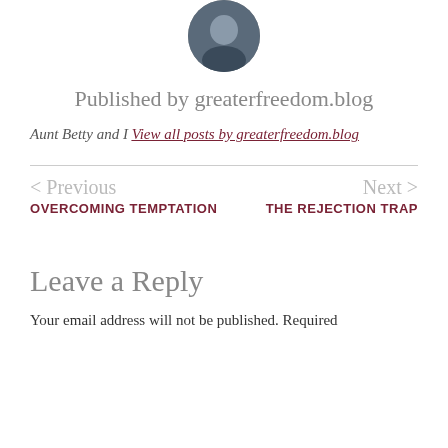[Figure (photo): Circular avatar photo of blog author, partially visible at top of page]
Published by greaterfreedom.blog
Aunt Betty and I View all posts by greaterfreedom.blog
< Previous
OVERCOMING TEMPTATION
Next >
THE REJECTION TRAP
Leave a Reply
Your email address will not be published. Required